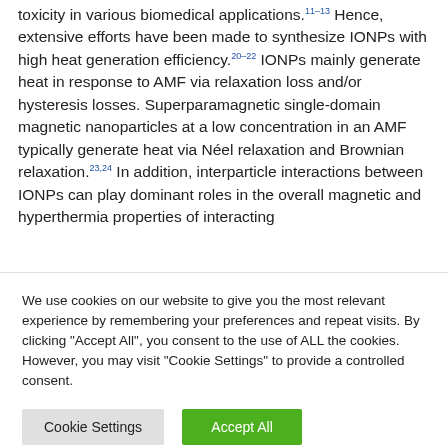toxicity in various biomedical applications.11–13 Hence, extensive efforts have been made to synthesize IONPs with high heat generation efficiency.20–22 IONPs mainly generate heat in response to AMF via relaxation loss and/or hysteresis losses. Superparamagnetic single-domain magnetic nanoparticles at a low concentration in an AMF typically generate heat via Néel relaxation and Brownian relaxation.23,24 In addition, interparticle interactions between IONPs can play dominant roles in the overall magnetic and hyperthermia properties of interacting
We use cookies on our website to give you the most relevant experience by remembering your preferences and repeat visits. By clicking "Accept All", you consent to the use of ALL the cookies. However, you may visit "Cookie Settings" to provide a controlled consent.